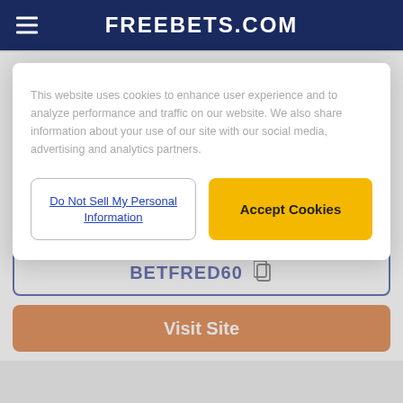FREEBETS.COM
This website uses cookies to enhance user experience and to analyze performance and traffic on our website. We also share information about your use of our site with our social media, advertising and analytics partners.
Do Not Sell My Personal Information
Accept Cookies
Betfred
GET £60 In Bonuses when you stake £10
Terms & Conditions Apply
BETFRED60
Visit Site